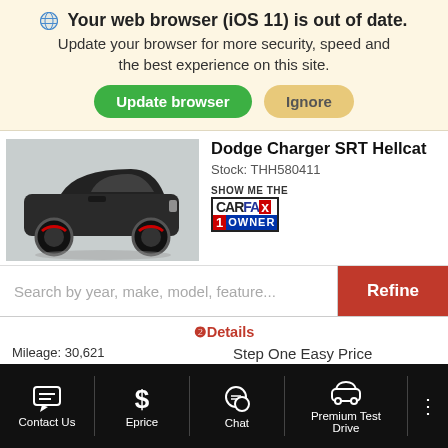Your web browser (iOS 11) is out of date. Update your browser for more security, speed and the best experience on this site.
Update browser | Ignore
Dodge Charger SRT Hellcat
Stock: THH580411
[Figure (logo): CARFAX 1 OWNER badge]
Search by year, make, model, feature...
Refine
Details
Mileage: 30,621
Exterior: Maximum Steel Metallic Clearcoat
Interior: Black
Step One Easy Price
$64,500
Contact Us
Eprice
Chat
Premium Test Drive